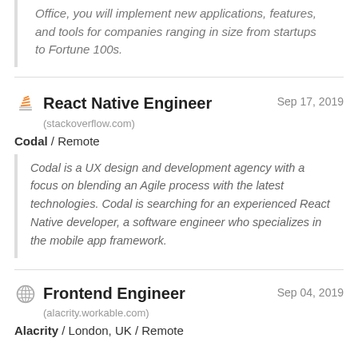Office, you will implement new applications, features, and tools for companies ranging in size from startups to Fortune 100s.
React Native Engineer
(stackoverflow.com)
Sep 17, 2019
Codal / Remote
Codal is a UX design and development agency with a focus on blending an Agile process with the latest technologies. Codal is searching for an experienced React Native developer, a software engineer who specializes in the mobile app framework.
Frontend Engineer
(alacrity.workable.com)
Sep 04, 2019
Alacrity / London, UK / Remote